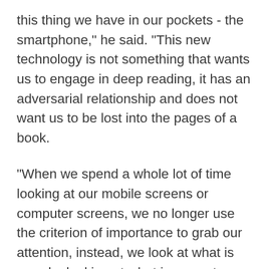this thing we have in our pockets - the smartphone," he said. "This new technology is not something that wants us to engage in deep reading, it has an adversarial relationship and does not want us to be lost into the pages of a book.
"When we spend a whole lot of time looking at our mobile screens or computer screens, we no longer use the criterion of importance to grab our attention, instead, we look at what is new, by looking at what is newest on our phone. The ability to take information and transform into knowledge...